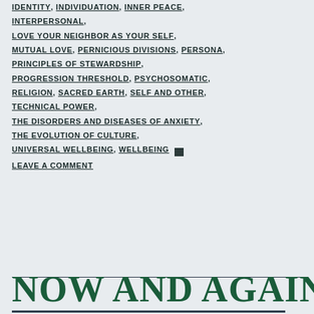IDENTITY, INDIVIDUATION, INNER PEACE, INTERPERSONAL,
LOVE YOUR NEIGHBOR AS YOUR SELF,
MUTUAL LOVE, PERNICIOUS DIVISIONS, PERSONA,
PRINCIPLES OF STEWARDSHIP,
PROGRESSION THRESHOLD, PSYCHOSOMATIC,
RELIGION, SACRED EARTH, SELF AND OTHER,
TECHNICAL POWER,
THE DISORDERS AND DISEASES OF ANXIETY,
THE EVOLUTION OF CULTURE,
UNIVERSAL WELLBEING, WELLBEING [comment icon] LEAVE A COMMENT
NOW AND AGAIN